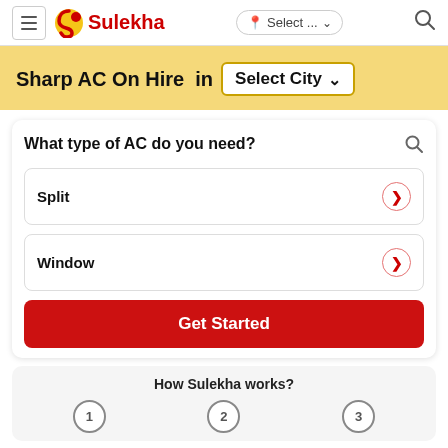Sulekha — Select ... (location dropdown) — Search icon
Sharp AC On Hire in Select City
What type of AC do you need?
Split
Window
Get Started
How Sulekha works?
1 2 3